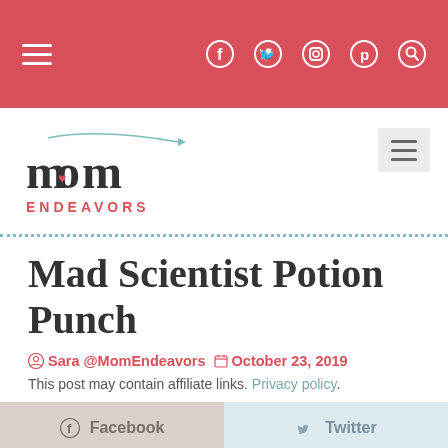Mom Endeavors blog header with navigation icons (hamburger menu, Facebook, Twitter, Instagram, Pinterest, Search)
[Figure (logo): Mom Endeavors logo with stylized text and airplane graphic]
Mad Scientist Potion Punch
Sara @MomEndeavors   October 23, 2019
This post may contain affiliate links. Privacy policy.
Facebook   Twitter